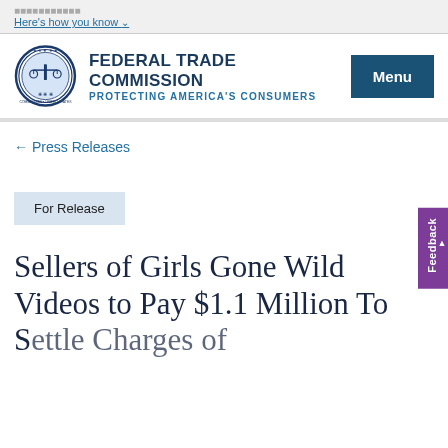Here's how you know
[Figure (logo): Federal Trade Commission official seal — circular blue and gold emblem with scales of justice]
FEDERAL TRADE COMMISSION
PROTECTING AMERICA'S CONSUMERS
Menu
← Press Releases
Feedback
For Release
Sellers of Girls Gone Wild Videos to Pay $1.1 Million To Settle Charges of...